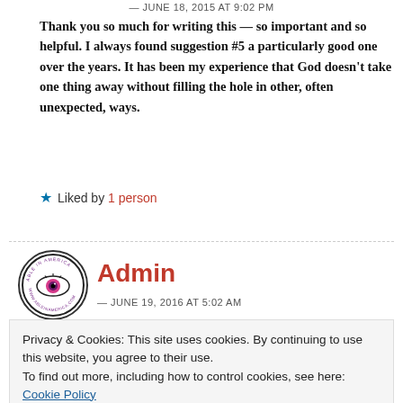— JUNE 18, 2015 AT 9:02 PM
Thank you so much for writing this — so important and so helpful. I always found suggestion #5 a particularly good one over the years. It has been my experience that God doesn't take one thing away without filling the hole in other, often unexpected, ways.
★ Liked by 1 person
[Figure (logo): Admin avatar: circular logo with eye graphic and text 'ABLE IN AMERICA']
Admin
— JUNE 19, 2016 AT 5:02 AM
Privacy & Cookies: This site uses cookies. By continuing to use this website, you agree to their use.
To find out more, including how to control cookies, see here: Cookie Policy